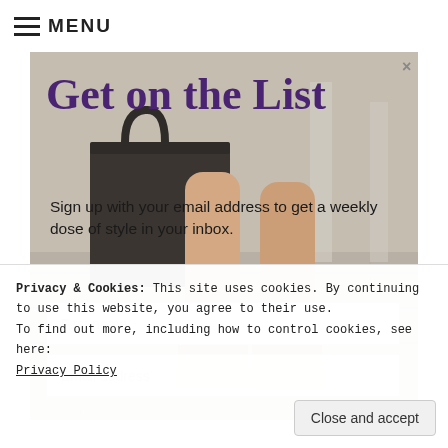≡ MENU
[Figure (photo): Fashion lifestyle photo showing woman's legs wearing high-heeled wedge sandals and carrying a dark tote bag, outdoor setting with stone pavement]
Get on the List
Sign up with your email address to get a weekly dose of style in your inbox.
First name
Email address
Privacy & Cookies: This site uses cookies. By continuing to use this website, you agree to their use.
To find out more, including how to control cookies, see here:
Privacy Policy
Close and accept